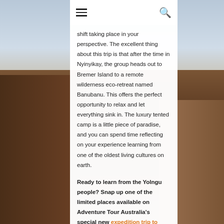☰  🔍
shift taking place in your perspective. The excellent thing about this trip is that after the time in Nyinyikay, the group heads out to Bremer Island to a remote wilderness eco-retreat named Banubanu. This offers the perfect opportunity to relax and let everything sink in. The luxury tented camp is a little piece of paradise, and you can spend time reflecting on your experience learning from one of the oldest living cultures on earth.
Ready to learn from the Yolngu people? Snap up one of the limited places available on Adventure Tour Australia's special new expedition trip to